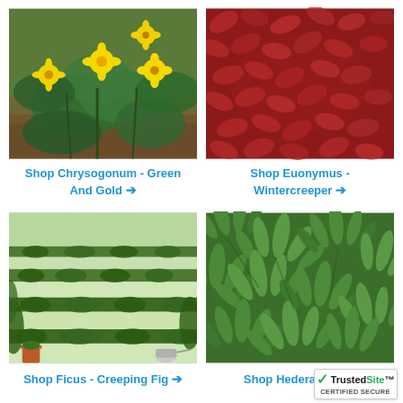[Figure (photo): Green plant with yellow flowers (Chrysogonum - Green And Gold)]
Shop Chrysogonum - Green And Gold →
[Figure (photo): Dense red/burgundy ground cover plant (Euonymus - Wintercreeper)]
Shop Euonymus - Wintercreeper →
[Figure (photo): Green steps/stairs covered with creeping fig plants (Ficus - Creeping Fig)]
Shop Ficus - Creeping Fig →
[Figure (photo): Dense green ivy/hedera leaves (Hedera - Ivy)]
Shop Hedera - Ivy →
[Figure (logo): TrustedSite CERTIFIED SECURE badge]